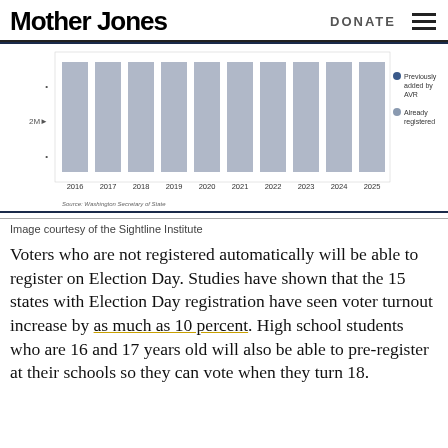Mother Jones   DONATE
[Figure (bar-chart): AVR registrations by year]
Image courtesy of the Sightline Institute
Voters who are not registered automatically will be able to register on Election Day. Studies have shown that the 15 states with Election Day registration have seen voter turnout increase by as much as 10 percent. High school students who are 16 and 17 years old will also be able to pre-register at their schools so they can vote when they turn 18.